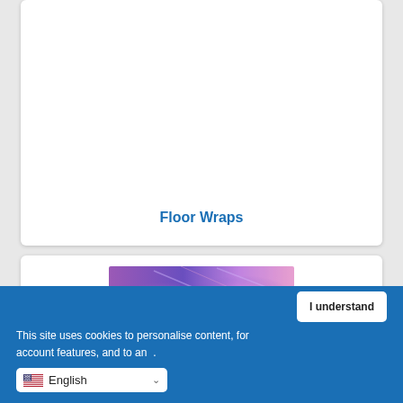Floor Wraps
[Figure (photo): Purple and pink colourful light/abstract image banner]
This site uses cookies to personalise content, for account features, and to an...
I understand
English